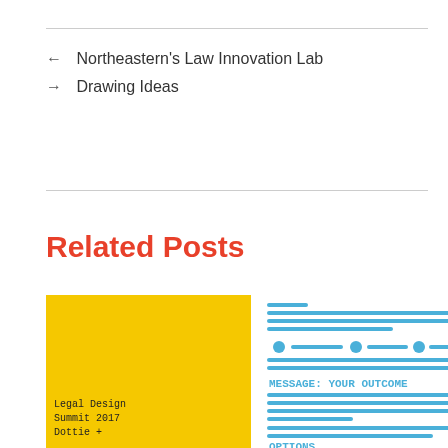← Northeastern's Law Innovation Lab
→ Drawing Ideas
Related Posts
[Figure (illustration): A yellow-background illustration showing a sketched document layout with blue handwritten lines and labels reading 'MESSAGE: YOUR OUTCOME' and 'OPTIONS', alongside handwritten notes about legal professionals drafting documents in org-centered ways, and a caption 'Legal Design Summit 2017 Dottie +'.]